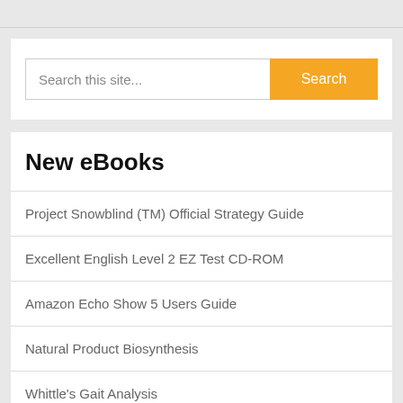[Figure (screenshot): Search bar with placeholder text 'Search this site...' and an orange 'Search' button]
New eBooks
Project Snowblind (TM) Official Strategy Guide
Excellent English Level 2 EZ Test CD-ROM
Amazon Echo Show 5 Users Guide
Natural Product Biosynthesis
Whittle's Gait Analysis